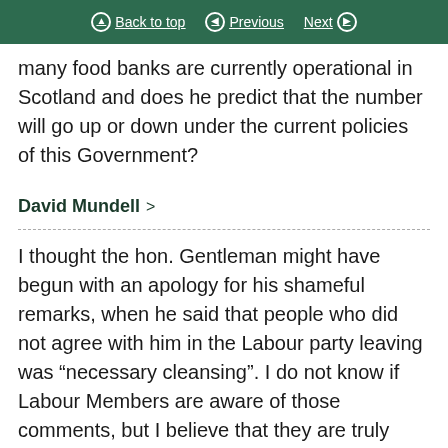Back to top | Previous | Next
many food banks are currently operational in Scotland and does he predict that the number will go up or down under the current policies of this Government?
David Mundell >
I thought the hon. Gentleman might have begun with an apology for his shameful remarks, when he said that people who did not agree with him in the Labour party leaving was “necessary cleansing”. I do not know if Labour Members are aware of those comments, but I believe that they are truly shameful. Of course, in relation to food banks, everybody regrets the need that people have in